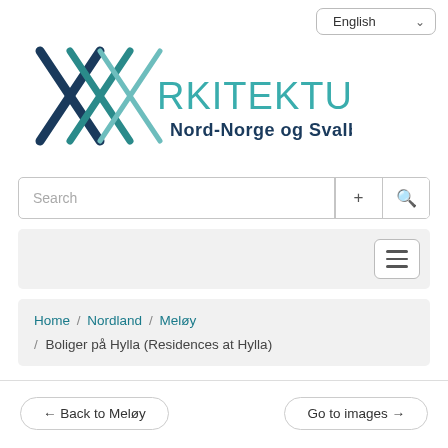[Figure (logo): Arkitekturguide Nord-Norge og Svalbard logo with crossed lines graphic and teal text]
English ▾
Search
≡ (hamburger menu button)
Home / Nordland / Meløy / Boliger på Hylla (Residences at Hylla)
← Back to Meløy
Go to images →